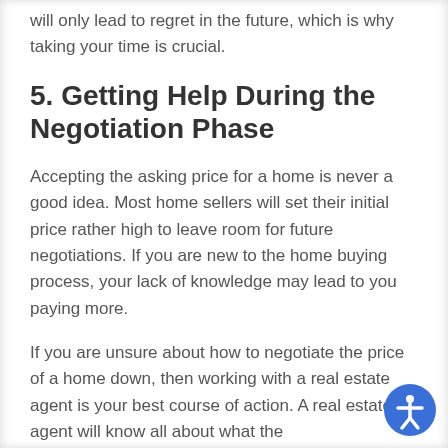will only lead to regret in the future, which is why taking your time is crucial.
5. Getting Help During the Negotiation Phase
Accepting the asking price for a home is never a good idea. Most home sellers will set their initial price rather high to leave room for future negotiations. If you are new to the home buying process, your lack of knowledge may lead to you paying more.
If you are unsure about how to negotiate the price of a home down, then working with a real estate agent is your best course of action. A real estate agent will know all about what the